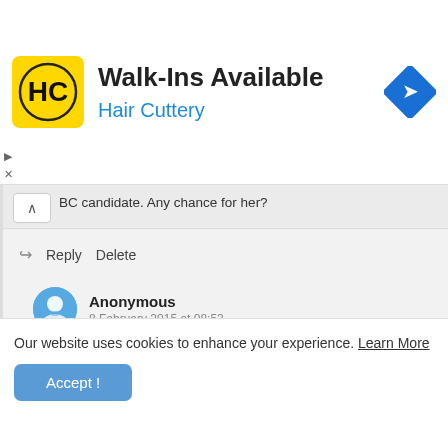[Figure (screenshot): Hair Cuttery advertisement banner with logo, Walk-Ins Available text, and navigation icon]
BC candidate. Any chance for her?
Reply   Delete
Anonymous
8 February 2015 at 08:53
No chance
Our website uses cookies to enhance your experience. Learn More
Accept !